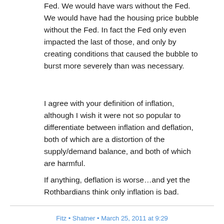Fed. We would have wars without the Fed. We would have had the housing price bubble without the Fed. In fact the Fed only even impacted the last of those, and only by creating conditions that caused the bubble to burst more severely than was necessary.
I agree with your definition of inflation, although I wish it were not so popular to differentiate between inflation and deflation, both of which are a distortion of the supply/demand balance, and both of which are harmful.
If anything, deflation is worse…and yet the Rothbardians think only inflation is bad.
Fitz • Shatner • March 25, 2011 at 9:29